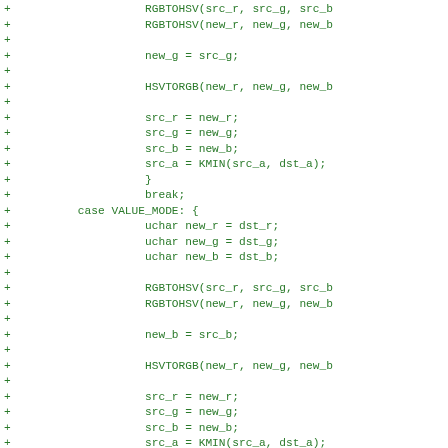Code diff showing additions to a C source file with RGBTOHSV/HSVTORGB color mode blending logic including HUE_MODE, VALUE_MODE cases with new_g = src_g, new_b = src_b assignments and src channel updates.